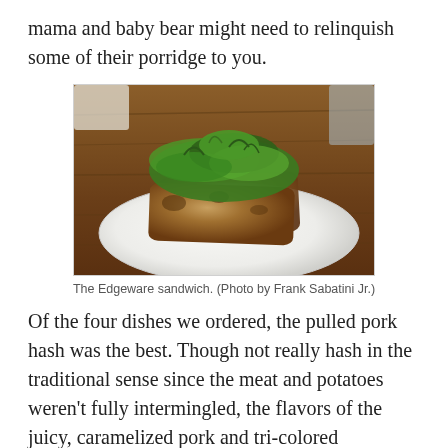mama and baby bear might need to relinquish some of their porridge to you.
[Figure (photo): A grilled sandwich (Edgeware sandwich) topped with fresh mixed greens salad, served on a white round plate on a wooden table.]
The Edgeware sandwich. (Photo by Frank Sabatini Jr.)
Of the four dishes we ordered, the pulled pork hash was the best. Though not really hash in the traditional sense since the meat and potatoes weren’t fully intermingled, the flavors of the juicy, caramelized pork and tri-colored